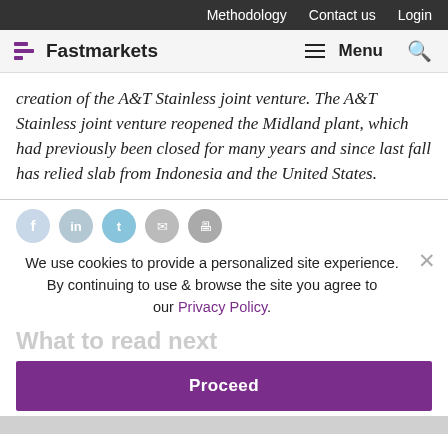Methodology  Contact us  Login
[Figure (logo): Fastmarkets logo with purple triple-line icon and wordmark]
creation of the A&T Stainless joint venture. The A&T Stainless joint venture reopened the Midland plant, which had previously been closed for many years and since last fall has relied slab from Indonesia and the United States.
We use cookies to provide a personalized site experience.
By continuing to use & browse the site you agree to our Privacy Policy.
What to read next
Proceed